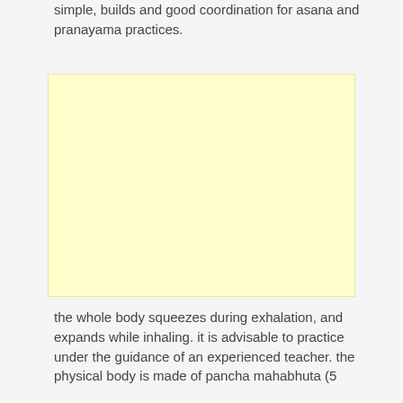simple, builds and good coordination for asana and pranayama practices.
[Figure (other): A blank light yellow rectangular image placeholder]
the whole body squeezes during exhalation, and expands while inhaling. it is advisable to practice under the guidance of an experienced teacher. the physical body is made of pancha mahabhuta (5